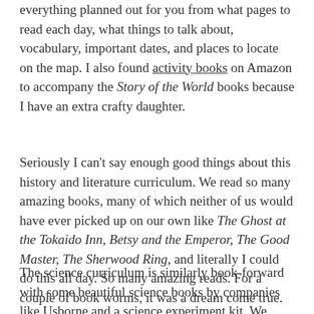everything planned out for you from what pages to read each day, what things to talk about, vocabulary, important dates, and places to locate on the map. I also found activity books on Amazon to accompany the Story of the World books because I have an extra crafty daughter.
Seriously I can't say enough good things about this history and literature curriculum. We read so many amazing books, many of which neither of us would have ever picked up on our own like The Ghost at the Tokaido Inn, Betsy and the Emperor, The Good Master, The Sherwood Ring, and literally I could do this all day. So many amazing reads. For a couple of book worms, it was a dream come true.
The science curriculum is similarly book-forward with some beautiful science books by companies like Usborne and a science experiment kit. We loved the